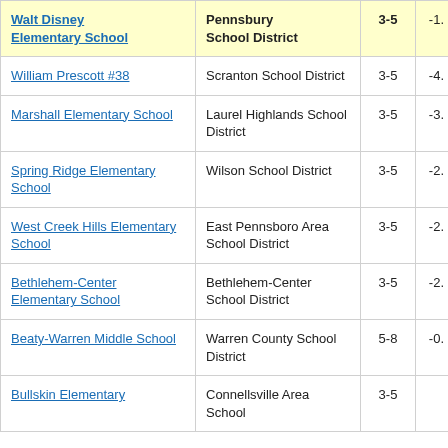| School | District | Grades | Score |
| --- | --- | --- | --- |
| Walt Disney Elementary School | Pennsbury School District | 3-5 | -1. |
| William Prescott #38 | Scranton School District | 3-5 | -4. |
| Marshall Elementary School | Laurel Highlands School District | 3-5 | -3. |
| Spring Ridge Elementary School | Wilson School District | 3-5 | -2. |
| West Creek Hills Elementary School | East Pennsboro Area School District | 3-5 | -2. |
| Bethlehem-Center Elementary School | Bethlehem-Center School District | 3-5 | -2. |
| Beaty-Warren Middle School | Warren County School District | 5-8 | -0. |
| Bullskin Elementary | Connellsville Area School District | 3-5 |  |